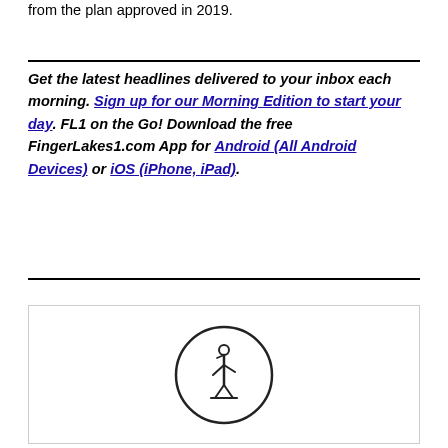from the plan approved in 2019.
Get the latest headlines delivered to your inbox each morning. Sign up for our Morning Edition to start your day. FL1 on the Go! Download the free FingerLakes1.com App for Android (All Android Devices) or iOS (iPhone, iPad).
[Figure (logo): FingerLakes1.com logo — a circle with a stylized figure '1' person icon inside]